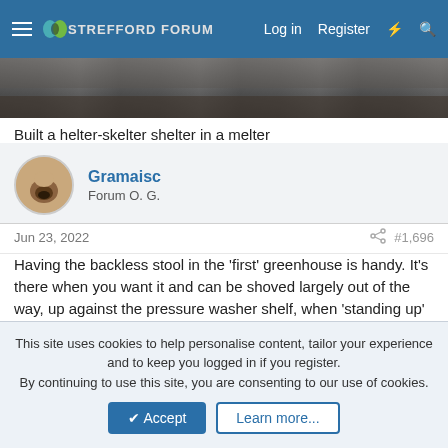Strefford Forum — Log in | Register
[Figure (photo): Partial photo showing a wooden shelf or wall background, cropped at top]
Built a helter-skelter shelter in a melter
Gramaisc
Forum O. G.
Jun 23, 2022  #1,696
Having the backless stool in the 'first' greenhouse is handy. It's there when you want it and can be shoved largely out of the way, up against the pressure washer shelf, when 'standing up' stuff is to be done.
This site uses cookies to help personalise content, tailor your experience and to keep you logged in if you register.
By continuing to use this site, you are consenting to our use of cookies.